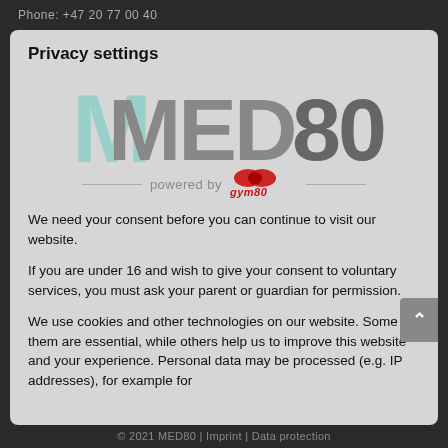Phone: +47 20 77 00 40
Privacy settings
[Figure (logo): MED80 logo with teal and gray lettering, powered by gym80 branding below]
We need your consent before you can continue to visit our website.
If you are under 16 and wish to give your consent to voluntary services, you must ask your parent or guardian for permission.
We use cookies and other technologies on our website. Some of them are essential, while others help us to improve this website and your experience. Personal data may be processed (e.g. IP addresses), for example for
© 2021 MED80 | Imprint | Data protection